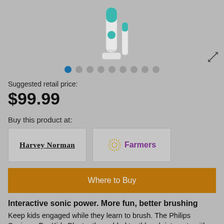[Figure (photo): Philips Sonicare for Kids electric toothbrush product image on grey background]
Suggested retail price:
$99.99
Buy this product at:
[Figure (logo): Harvey Norman logo — black bold serif text with underline]
[Figure (logo): Farmers logo — gold sunburst icon with purple bold text]
Where to Buy
Interactive sonic power. More fun, better brushing
Keep kids engaged while they learn to brush. The Philips Sonicare For Kids Bluetooth-enabled toothbrush interacts with a